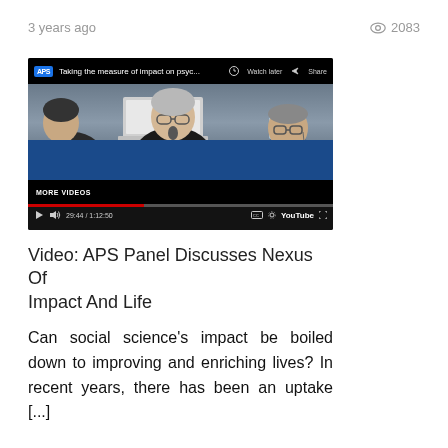3 years ago
2083
[Figure (screenshot): Embedded YouTube video player showing a panel discussion titled 'Taking the measure of impact on psyc...' with three people seated at a table with a blue tablecloth. The player shows MORE VIDEOS bar, a red progress bar at 29:44 / 1:12:50, and YouTube branding.]
Video: APS Panel Discusses Nexus Of Impact And Life
Can social science's impact be boiled down to improving and enriching lives? In recent years, there has been an uptake [...]